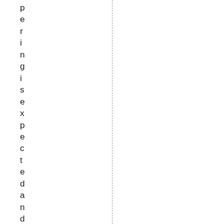peringisexpectedandendured.Pre